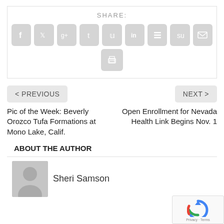SHARE:
[Figure (infographic): Social sharing icons: Facebook, Twitter, Google+, Tumblr, Pinterest, LinkedIn, Buffer, StumbleUpon, Email, Print — shown as light gray rounded square buttons with white symbols]
< PREVIOUS
NEXT >
Pic of the Week: Beverly Orozco Tufa Formations at Mono Lake, Calif.
Open Enrollment for Nevada Health Link Begins Nov. 1
ABOUT THE AUTHOR
Sheri Samson